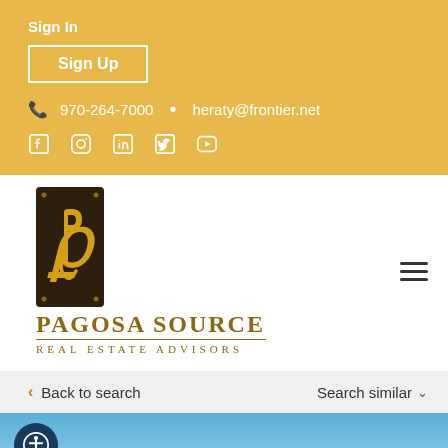Sign In
Sign Up
970-264-7000 • heraty@frontier.net
[Figure (logo): Pagosa Source Real Estate Advisors logo with stylized P emblem on dark background]
Back to search
Search similar
[Figure (photo): Blue sky landscape photo partial view at bottom of page with accessibility icon overlay]